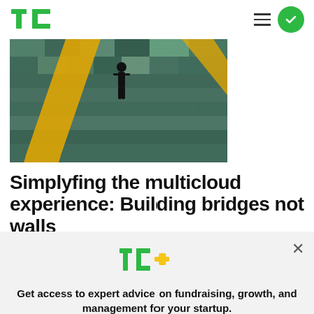[Figure (logo): TechCrunch TC logo in green]
[Figure (photo): Abstract digital/cloud technology image with a silhouette of a person standing on a colorful mosaic surface with yellow diagonal lines]
Simplyfing the multicloud experience: Building bridges not walls
[Figure (logo): TC+ logo in green and gold/yellow]
Get access to expert advice on fundraising, growth, and management for your startup.
EXPLORE NOW